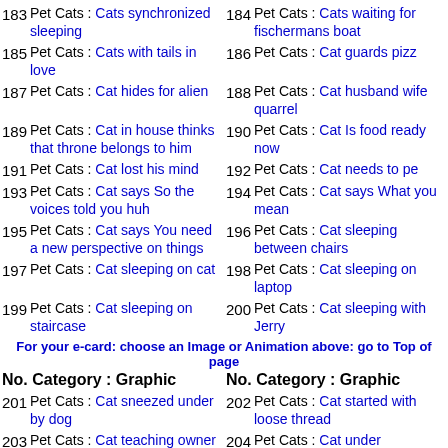183 Pet Cats : Cats synchronized sleeping
184 Pet Cats : Cats waiting for fischermans boat
185 Pet Cats : Cats with tails in love
186 Pet Cats : Cat guards pizza
187 Pet Cats : Cat hides for alien
188 Pet Cats : Cat husband wife quarrel
189 Pet Cats : Cat in house thinks that throne belongs to him
190 Pet Cats : Cat Is food ready now
191 Pet Cats : Cat lost his mind
192 Pet Cats : Cat needs to pe
193 Pet Cats : Cat says So the voices told you huh
194 Pet Cats : Cat says What you mean
195 Pet Cats : Cat says You need a new perspective on things
196 Pet Cats : Cat sleeping between chairs
197 Pet Cats : Cat sleeping on cat
198 Pet Cats : Cat sleeping on laptop
199 Pet Cats : Cat sleeping on staircase
200 Pet Cats : Cat sleeping with Jerry
For your e-card: choose an Image or Animation above: go to Top of page
No. Category : Graphic  No. Category : Graphic
201 Pet Cats : Cat sneezed under by dog
202 Pet Cats : Cat started with loose thread
203 Pet Cats : Cat teaching owner
204 Pet Cats : Cat under newspaper